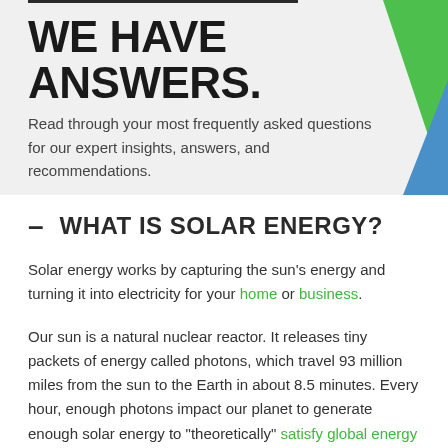WE HAVE ANSWERS.
Read through your most frequently asked questions for our expert insights, answers, and recommendations.
– WHAT IS SOLAR ENERGY?
Solar energy works by capturing the sun's energy and turning it into electricity for your home or business.
Our sun is a natural nuclear reactor. It releases tiny packets of energy called photons, which travel 93 million miles from the sun to the Earth in about 8.5 minutes. Every hour, enough photons impact our planet to generate enough solar energy to "theoretically" satisfy global energy